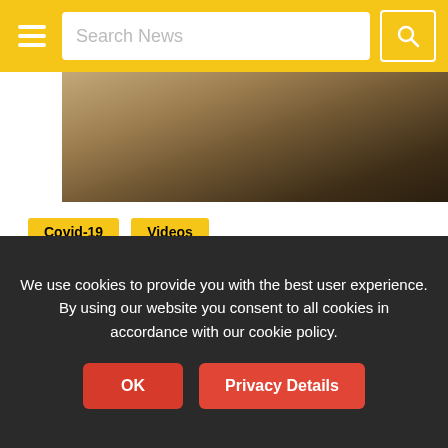Search News
[Figure (photo): Indoor room or restaurant interior photo, dark tones with wooden furniture and stairs]
Covid-19
Videos
QUARANTINE: Through the Eyes of Cirque du Soleil Artists
May 13, 2020  Media Monitor  Coronavirus, COVID19
A M.O.S.M. Collective put out this lovely look at how high level circus artists are sharpening their skills in new
We use cookies to provide you with the best user experience. By using our website you consent to all cookies in accordance with our cookie policy.